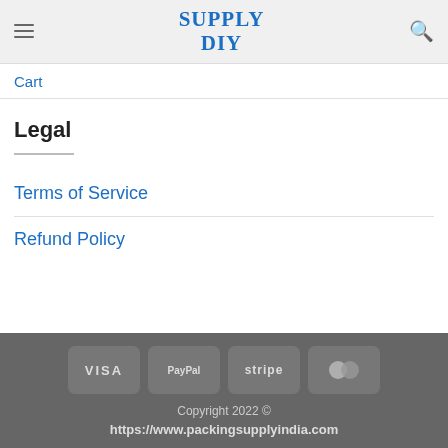SUPPLY DIY
Cart
Legal
Terms of Service
Refund Policy
VISA | PayPal | stripe | MasterCard
Copyright 2022 ©
https://www.packingsupplyindia.com